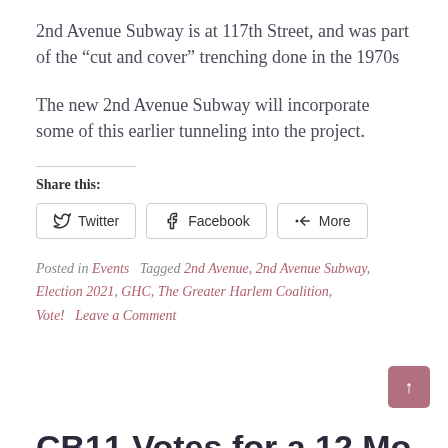2nd Avenue Subway is at 117th Street, and was part of the “cut and cover” trenching done in the 1970s
The new 2nd Avenue Subway will incorporate some of this earlier tunneling into the project.
Share this:
Twitter   Facebook   More
Posted in Events   Tagged 2nd Avenue, 2nd Avenue Subway, Election 2021, GHC, The Greater Harlem Coalition, Vote!   Leave a Comment
CB11 Votes for a 12 Month